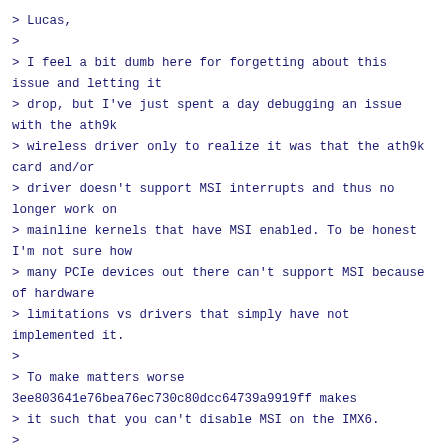> Lucas,
>
> I feel a bit dumb here for forgetting about this issue and letting it
> drop, but I've just spent a day debugging an issue with the ath9k
> wireless driver only to realize it was that the ath9k card and/or
> driver doesn't support MSI interrupts and thus no longer work on
> mainline kernels that have MSI enabled. To be honest I'm not sure how
> many PCIe devices out there can't support MSI because of hardware
> limitations vs drivers that simply have not implemented it.
>
> To make matters worse 3ee803641e76bea76ec730c80dcc64739a9919ff makes
> it such that you can't disable MSI on the IMX6.
>
> Is there some fix you can think of to make the IMX6 PCIe host
> controller raise an interrupt for cards/drivers that use legacy irq's?
> If not, then we need to allow MSI to be disabled for IMX6 and default
> it to disabled for compatibility.
>